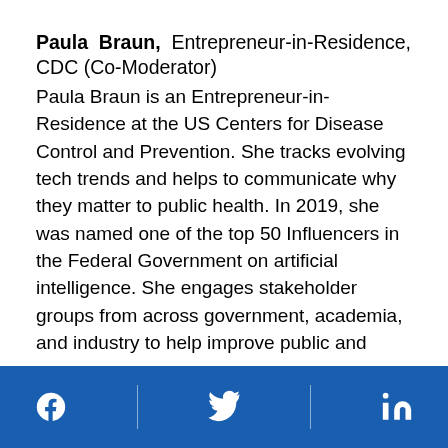Paula Braun,  Entrepreneur-in-Residence, CDC (Co-Moderator)
Paula Braun is an Entrepreneur-in-Residence at the US Centers for Disease Control and Prevention. She tracks evolving tech trends and helps to communicate why they matter to public health. In 2019, she was named one of the top 50 Influencers in the Federal Government on artificial intelligence. She engages stakeholder groups from across government, academia, and industry to help improve public and population health. She is an internationally recognized expert on interoperability and innovation, and she collaborates with colleagues from across CDC to use design thinking and advances in
Facebook | Twitter | LinkedIn